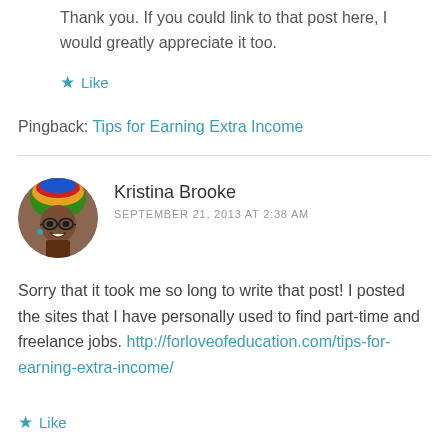Thank you. If you could link to that post here, I would greatly appreciate it too.
★ Like
Pingback: Tips for Earning Extra Income
Kristina Brooke
SEPTEMBER 21, 2013 AT 2:38 AM
[Figure (photo): Round avatar photo of Kristina Brooke, a smiling woman wearing glasses and a colorful headwrap]
Sorry that it took me so long to write that post! I posted the sites that I have personally used to find part-time and freelance jobs. http://forloveofeducation.com/tips-for-earning-extra-income/
★ Like